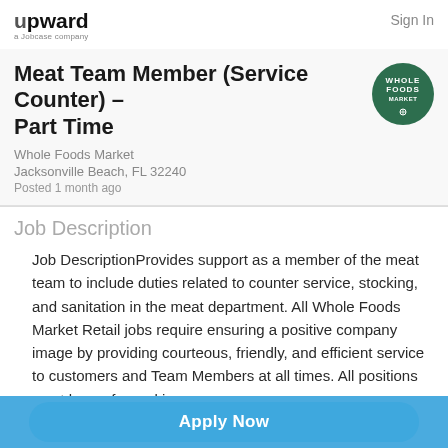upward a Jobcase company
Sign In
Meat Team Member (Service Counter) – Part Time
[Figure (logo): Whole Foods Market circular green logo with white text]
Whole Foods Market
Jacksonville Beach, FL 32240
Posted 1 month ago
Job Description
Job DescriptionProvides support as a member of the meat team to include duties related to counter service, stocking, and sanitation in the meat department. All Whole Foods Market Retail jobs require ensuring a positive company image by providing courteous, friendly, and efficient service to customers and Team Members at all times. All positions must be performed in